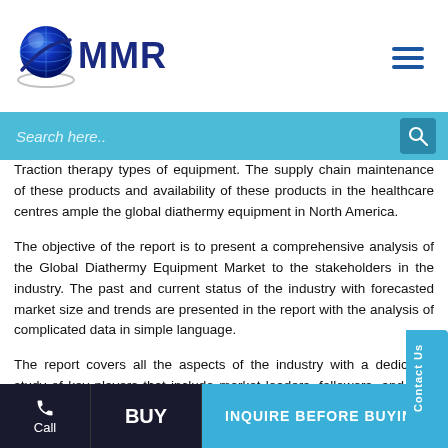MMR logo and navigation header with search bar
Traction therapy types of equipment. The supply chain maintenance of these products and availability of these products in the healthcare centres ample the global diathermy equipment in North America.
The objective of the report is to present a comprehensive analysis of the Global Diathermy Equipment Market to the stakeholders in the industry. The past and current status of the industry with forecasted market size and trends are presented in the report with the analysis of complicated data in simple language.
The report covers all the aspects of the industry with a dedicated study of key players that include market leaders, followers, and new entrants. PORTER, SWOR...
Call | BUY | INQUIRE BEFORE BUYING